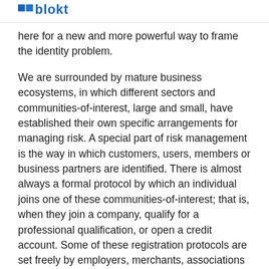Blokt logo
here for a new and more powerful way to frame the identity problem.
We are surrounded by mature business ecosystems, in which different sectors and communities-of-interest, large and small, have established their own specific arrangements for managing risk. A special part of risk management is the way in which customers, users, members or business partners are identified. There is almost always a formal protocol by which an individual joins one of these communities-of-interest; that is, when they join a company, qualify for a professional qualification, or open a credit account. Some of these registration protocols are set freely by employers, merchants, associations and the like; others have a legislated element, in regulated